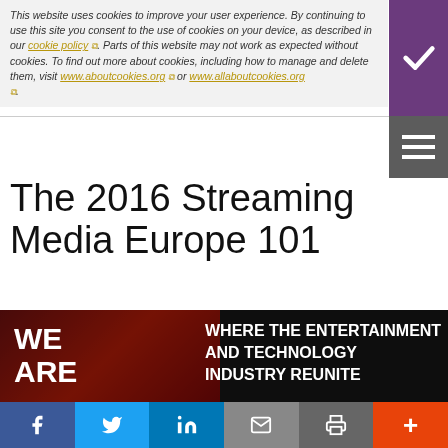This website uses cookies to improve your user experience. By continuing to use this site you consent to the use of cookies on your device, as described in our cookie policy. Parts of this website may not work as expected without cookies. To find out more about cookies, including how to manage and delete them, visit www.aboutcookies.org or www.allaboutcookies.org.
The 2016 Streaming Media Europe 101
[Figure (logo): Streaming Media Europe 101 logo with large purple '101' text and gold double-arrow streaming icon]
[Figure (infographic): Dark bottom banner with red background showing 'WE ARE' on left and 'WHERE THE ENTERTAINMENT AND TECHNOLOGY INDUSTRY REUNITE' on right]
Social sharing bar with Facebook, Twitter, LinkedIn, Email, Print, and plus buttons